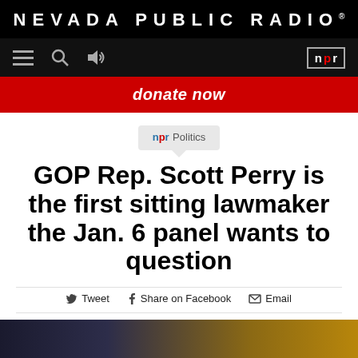NEVADA PUBLIC RADIO®
[Figure (screenshot): Navigation bar with hamburger menu, search icon, audio icon, and NPR badge on black background]
donate now
npr Politics
GOP Rep. Scott Perry is the first sitting lawmaker the Jan. 6 panel wants to question
Tweet  Share on Facebook  Email
[Figure (photo): Dark partially visible photo at bottom of page]